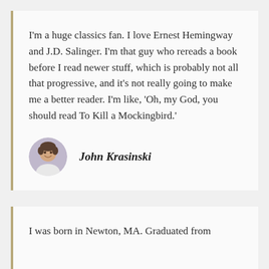I'm a huge classics fan. I love Ernest Hemingway and J.D. Salinger. I'm that guy who rereads a book before I read newer stuff, which is probably not all that progressive, and it's not really going to make me a better reader. I'm like, 'Oh, my God, you should read To Kill a Mockingbird.'
John Krasinski
I was born in Newton, MA. Graduated from